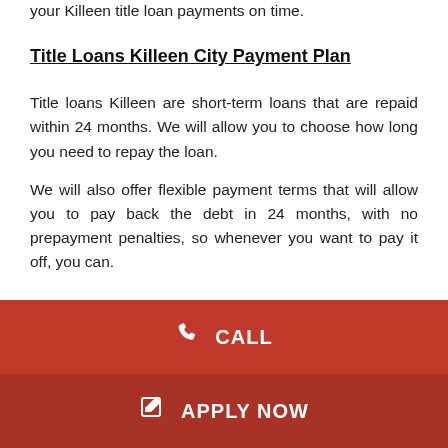your Killeen title loan payments on time.
Title Loans Killeen City Payment Plan
Title loans Killeen are short-term loans that are repaid within 24 months. We will allow you to choose how long you need to repay the loan.
We will also offer flexible payment terms that will allow you to pay back the debt in 24 months, with no prepayment penalties, so whenever you want to pay it off, you can.
[Figure (other): Red call button with phone icon and CALL label]
[Figure (other): Dark red apply now button with edit icon and APPLY NOW label]